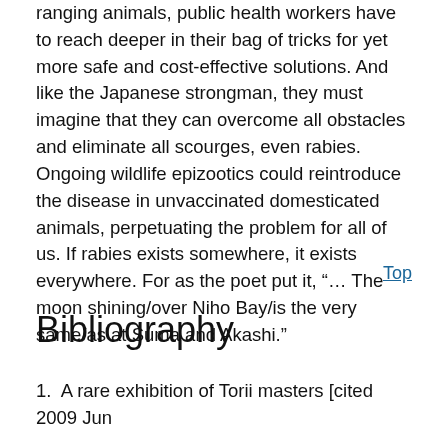ranging animals, public health workers have to reach deeper in their bag of tricks for yet more safe and cost-effective solutions. And like the Japanese strongman, they must imagine that they can overcome all obstacles and eliminate all scourges, even rabies. Ongoing wildlife epizootics could reintroduce the disease in unvaccinated domesticated animals, perpetuating the problem for all of us. If rabies exists somewhere, it exists everywhere. For as the poet put it, “… The moon shining/over Niho Bay/is the very same/as at Suma and Akashi.”
Top
Bibliography
1. A rare exhibition of Torii masters [cited 2009 Jun